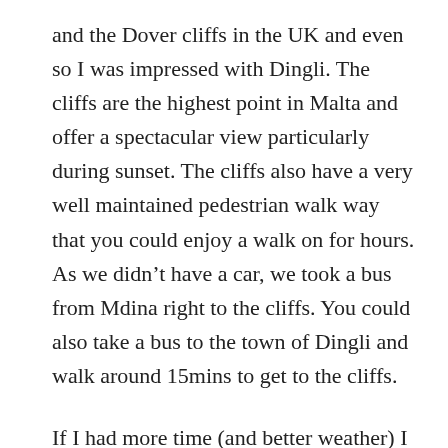and the Dover cliffs in the UK and even so I was impressed with Dingli. The cliffs are the highest point in Malta and offer a spectacular view particularly during sunset. The cliffs also have a very well maintained pedestrian walk way that you could enjoy a walk on for hours. As we didn't have a car, we took a bus from Mdina right to the cliffs. You could also take a bus to the town of Dingli and walk around 15mins to get to the cliffs.
If I had more time (and better weather) I would spend a day walking along the cliffs and the Buskett Gardens, which is Malta's only woodlands. If you only want to spend a couple of hours on the cliffs then you can easily do Mdina, Rabat, Mosta Dome and the cliffs on the